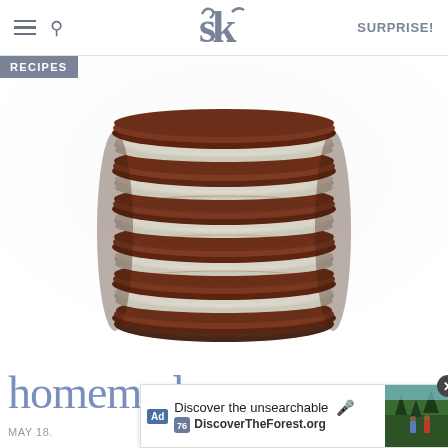SK | SURPRISE!
[Figure (photo): A tall stack of homemade Oreo-style sandwich cookies with dark chocolate wafers and white cream filling, photographed close-up against a white background.]
RECIPES
homemade oreos
MAY 18.
[Figure (screenshot): Advertisement overlay: 'Discover the unsearchable' / 'DiscoverTheForest.org' with a photo of people hiking in a forest, an ad badge, microphone icon, and road sign icon. Close button (X) in upper right.]